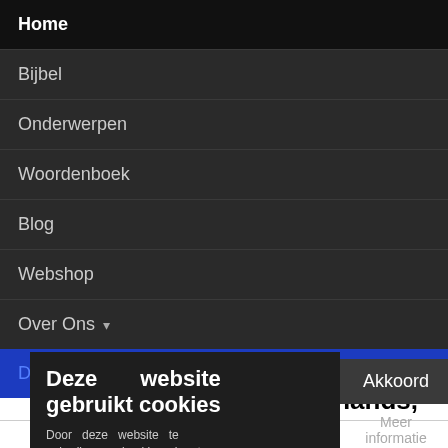Home
Bijbel
Onderwerpen
Woordenboek
Blog
Webshop
Over Ons ▾
Doneer
Deze website gebruikt cookies
Door deze website te gebruiken, ga je akkoord met ons gebruik van cookies.
Akkoord
Meer informatie
s by her side, prev.
in, the hands,
Ilias Homerus Epicus "Iliad" 11, 4, 15, 717; ✗) a gov